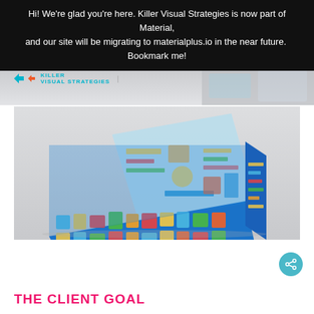Hi! We're glad you're here. Killer Visual Strategies is now part of Material, and our site will be migrating to materialplus.io in the near future.  Bookmark me!
[Figure (photo): Partial photo showing Killer Visual Strategies branding strip with logo and divider]
[Figure (photo): Photo of a blue folded tri-fold brochure/infographic printed with colorful illustrated content including charts, icons, and infographic elements, displayed on a light gray surface]
THE CLIENT GOAL